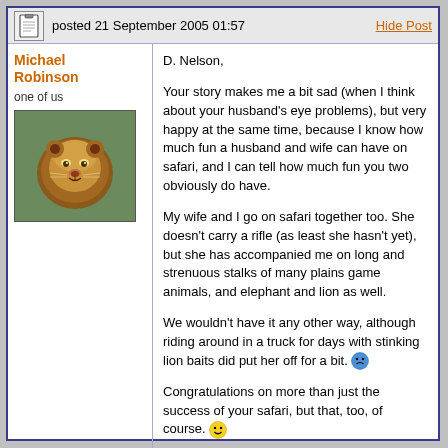posted 21 September 2005 01:57
Michael Robinson
one of us
D. Nelson,

Your story makes me a bit sad (when I think about your husband's eye problems), but very happy at the same time, because I know how much fun a husband and wife can have on safari, and I can tell how much fun you two obviously do have.

My wife and I go on safari together too. She doesn't carry a rifle (as least she hasn't yet), but she has accompanied me on long and strenuous stalks of many plains game animals, and elephant and lion as well.

We wouldn't have it any other way, although riding around in a truck for days with stinking lion baits did put her off for a bit. [sad emoji]

Congratulations on more than just the success of your safari, but that, too, of course. [smile emoji]

My PH a couple of years ago was originally from Mozambique, and hunted several excellent coutadas there for many years. But he lost everything, and was lucky to escape with his family when the communists took the place over in the seventies and confiscated all private property.

He has Portuguese citizenship now, and still hunts in